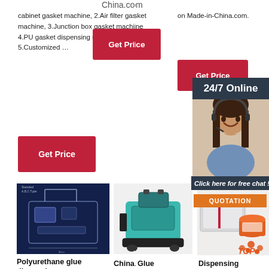China.com
cabinet gasket machine, 2.Air filter gasket machine, 3.Junction box gasket machine 4.PU gasket dispensing machine 5.Customized …
Get Price
Get Price
on Made-in-China.com.
Get Price
24/7 Online
[Figure (photo): Customer service representative wearing headset, smiling]
Click here for free chat !
QUOTATION
[Figure (photo): PU gasket dispensing machine schematic diagram on dark blue background]
[Figure (photo): Teal/green CNC dispensing machine - WINMAN brand]
[Figure (photo): Product packaging and glue dispensing materials with TOP logo]
Polyurethane glue dispensing
China Glue
Dispensing